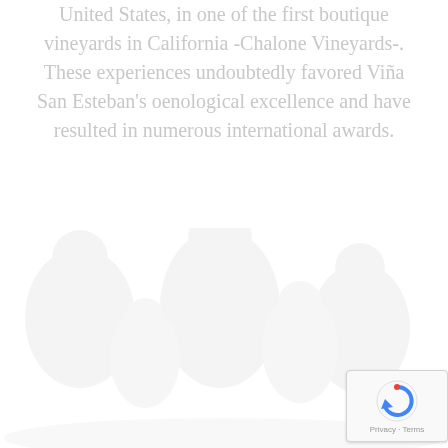United States, in one of the first boutique vineyards in California -Chalone Vineyards-. These experiences undoubtedly favored Viña San Esteban's oenological excellence and have resulted in numerous international awards.
[Figure (illustration): Faint watermark-style silhouette illustration of people (appears to be figures in celebration or harvest scene), rendered in very light gray at bottom of page]